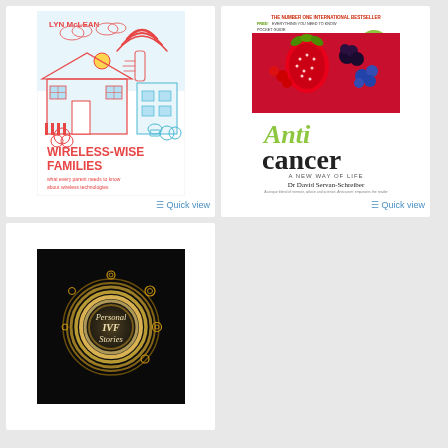[Figure (illustration): Book cover: Wireless-Wise Families by Lyn McLean. Red and teal illustrated cover with a house, wifi symbol, and hand. Text: WIRELESS-WISE FAMILIES, what every parent needs to know about wireless technologies]
≡ Quick view
[Figure (illustration): Book cover: Anticancer A New Way of Life by Dr David Servan-Schreiber. White cover with red berries/fruits photo. Green circle badge: Second Edition. Top text: THE NUMBER ONE INTERNATIONAL BESTSELLER / FREE! EVERYTHING YOU NEED TO KNOW POCKET GUIDE]
≡ Quick view
[Figure (illustration): Book cover: Personal IVF Stories. Black background with golden glowing circles/rings and small circle bubbles.]
[Figure (illustration): Empty card placeholder, gray background]